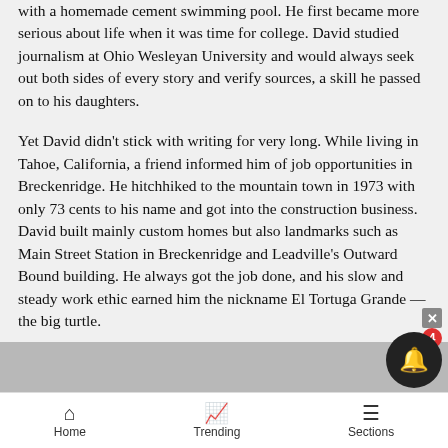with a homemade cement swimming pool. He first became more serious about life when it was time for college. David studied journalism at Ohio Wesleyan University and would always seek out both sides of every story and verify sources, a skill he passed on to his daughters.
Yet David didn't stick with writing for very long. While living in Tahoe, California, a friend informed him of job opportunities in Breckenridge. He hitchhiked to the mountain town in 1973 with only 73 cents to his name and got into the construction business. David built mainly custom homes but also landmarks such as Main Street Station in Breckenridge and Leadville's Outward Bound building. He always got the job done, and his slow and steady work ethic earned him the nickname El Tortuga Grande — the big turtle.
Home   Trending   Sections